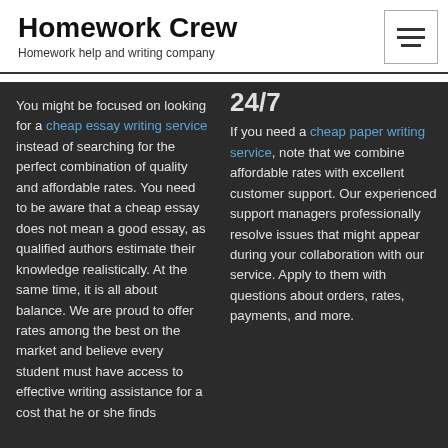Homework Crew
Homework help and writing company
24/7
You might be focused on looking for a cheap essay writing service instead of searching for the perfect combination of quality and affordable rates. You need to be aware that a cheap essay does not mean a good essay, as qualified authors estimate their knowledge realistically. At the same time, it is all about balance. We are proud to offer rates among the best on the market and believe every student must have access to effective writing assistance for a cost that he or she finds
If you need a cheap paper writing service, note that we combine affordable rates with excellent customer support. Our experienced support managers professionally resolve issues that might appear during your collaboration with our service. Apply to them with questions about orders, rates, payments, and more.